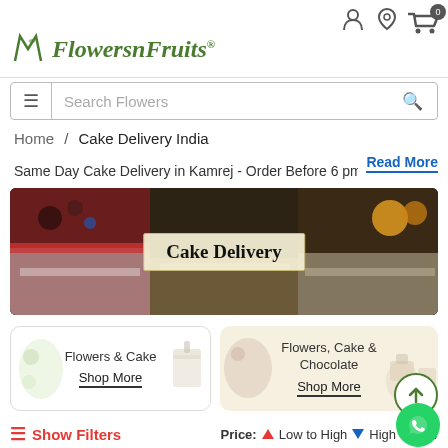Flowers n Fruits® — Search Flowers
Home / Cake Delivery India
Same Day Cake Delivery in Kamrej - Order Before 6 pm...
Read More
[Figure (photo): Banner image showing assorted cake slices with cream and fruits decoration, with a label overlay reading 'Cake Delivery']
[Figure (illustration): Flowers & Cake shop card with floral illustration and Shop More link]
[Figure (illustration): Flowers, Cake & Chocolate shop card with floral illustration and Shop More link]
≡ Show Filters   Price: ▲ Low to High  ▼ High to Low
[Figure (photo): Partial product images at the bottom of the page - two product thumbnails visible]